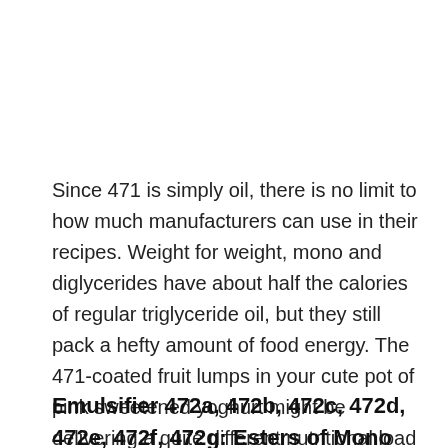Since 471 is simply oil, there is no limit to how much manufacturers can use in their recipes. Weight for weight, mono and diglycerides have about half the calories of regular triglyceride oil, but they still pack a hefty amount of food energy. The 471-coated fruit lumps in your cute pot of pink sweetened yoghurt might be delivering a quite different nutritional load from what you expect!
Emulsifier 472a, 472b, 472c, 472d, 472e, 472f, 472g: Esters of Mono and